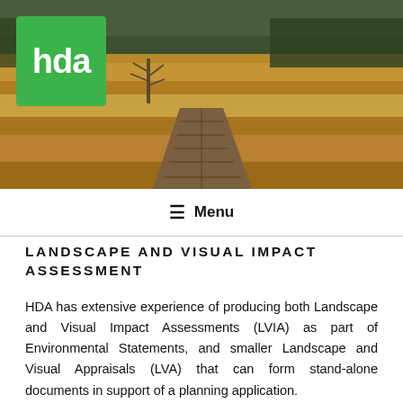[Figure (photo): Aerial/landscape photo of a wooden boardwalk path winding through golden marshland/grassland with trees in background]
hda (logo) | ≡ Menu
LANDSCAPE AND VISUAL IMPACT ASSESSMENT
HDA has extensive experience of producing both Landscape and Visual Impact Assessments (LVIA) as part of Environmental Statements, and smaller Landscape and Visual Appraisals (LVA) that can form stand-alone documents in support of a planning application.
Our approach and methodology that...